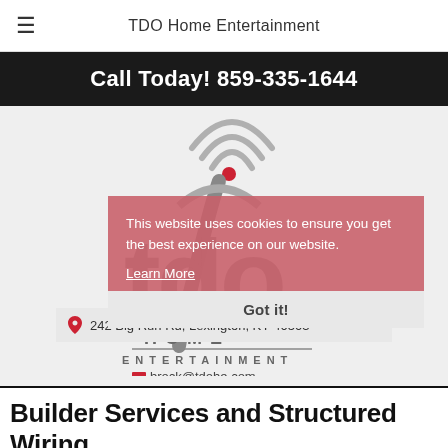TDO Home Entertainment
Call Today! 859-335-1644
[Figure (logo): TDO Home Entertainment logo with satellite dish graphic above stylized 'tdo' text, and 'HOME ENTERTAINMENT' subtitle with decorative elements and email brock@tdohe.com and address 242 Big Run Rd, Lexington, KY 40503]
This website uses cookies to ensure you get the best experience on our website.
Learn More
Got it!
Builder Services and Structured Wiring